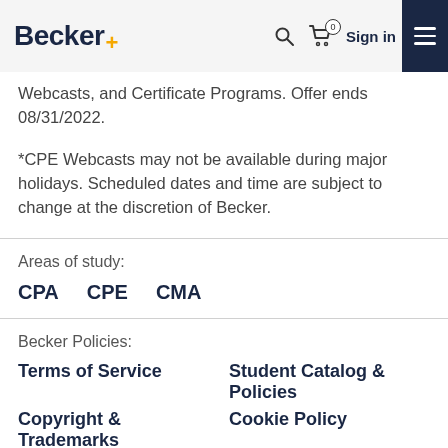Becker+ [navigation bar with search, cart, sign in, and menu]
Webcasts, and Certificate Programs. Offer ends 08/31/2022.
*CPE Webcasts may not be available during major holidays. Scheduled dates and time are subject to change at the discretion of Becker.
Areas of study:
CPA
CPE
CMA
Becker Policies:
Terms of Service
Student Catalog & Policies
Copyright & Trademarks
Cookie Policy
Privacy Policy
Accessibility Statement